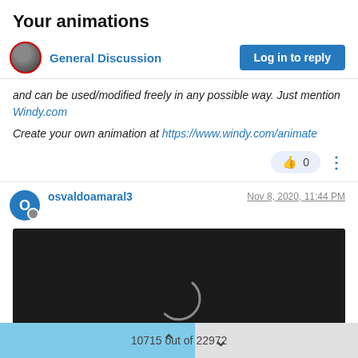Your animations
General Discussion
and can be used/modified freely in any possible way. Just mention Windy.com
Create your own animation at https://www.windy.com/animate
0
osvaldoamaral3
Nov 8, 2020, 11:44 PM
[Figure (screenshot): Video player showing 0:00 with loading spinner on dark background]
10715 out of 22972